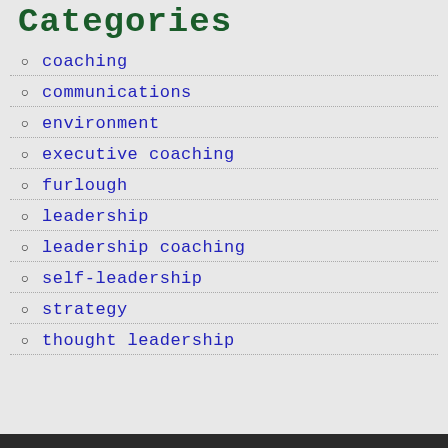Categories
coaching
communications
environment
executive coaching
furlough
leadership
leadership coaching
self-leadership
strategy
thought leadership